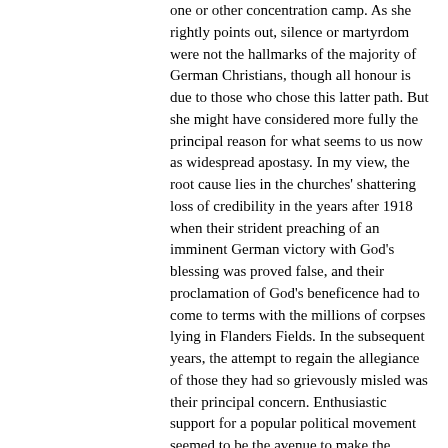one or other concentration camp. As she rightly points out, silence or martyrdom were not the hallmarks of the majority of German Christians, though all honour is due to those who chose this latter path. But she might have considered more fully the principal reason for what seems to us now as widespread apostasy. In my view, the root cause lies in the churches' shattering loss of credibility in the years after 1918 when their strident preaching of an imminent German victory with God's blessing was proved false, and their proclamation of God's beneficence had to come to terms with the millions of corpses lying in Flanders Fields. In the subsequent years, the attempt to regain the allegiance of those they had so grievously misled was their principal concern. Enthusiastic support for a popular political movement seemed to be the avenue to make the church relevant again. For Catholics, who had for so long been regarded as second-class citizens, the opportunity to upgrade their status by joining the Nazi bandwagon seemed to secure their institutional position in the wider society. Protestants too were eager to celebrate their national loyalties and to swallow their reservations about the tactics